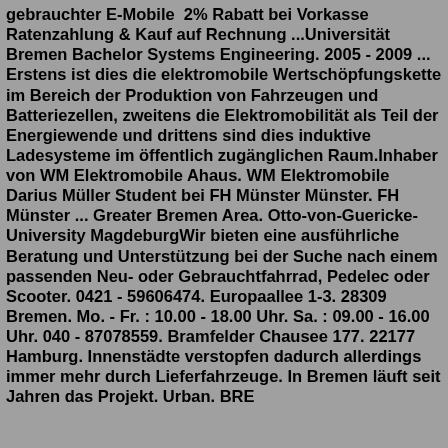gebrauchter E-Mobile  2% Rabatt bei Vorkasse Ratenzahlung & Kauf auf Rechnung ...Universität Bremen Bachelor Systems Engineering. 2005 - 2009 ... Erstens ist dies die elektromobile Wertschöpfungskette im Bereich der Produktion von Fahrzeugen und Batteriezellen, zweitens die Elektromobilität als Teil der Energiewende und drittens sind dies induktive Ladesysteme im öffentlich zugänglichen Raum.Inhaber von WM Elektromobile Ahaus. WM Elektromobile Darius Müller Student bei FH Münster Münster. FH Münster ... Greater Bremen Area. Otto-von-Guericke-University MagdeburgWir bieten eine ausführliche Beratung und Unterstützung bei der Suche nach einem passenden Neu- oder Gebrauchtfahrrad, Pedelec oder Scooter. 0421 - 59606474. Europaallee 1-3. 28309 Bremen. Mo. - Fr. : 10.00 - 18.00 Uhr. Sa. : 09.00 - 16.00 Uhr. 040 - 87078559. Bramfelder Chausee 177. 22177 Hamburg. Innenstädte verstopfen dadurch allerdings immer mehr durch Lieferfahrzeuge. In Bremen läuft seit Jahren das Projekt. Urban. BRE